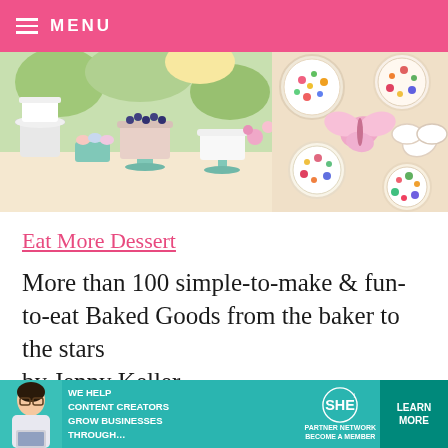MENU
[Figure (photo): Two food/baking photos side by side: left shows dessert table with tiered cakes, cupcakes in teal stands; right shows decorated cookies with colorful sprinkles and butterfly shapes]
Eat More Dessert
More than 100 simple-to-make & fun-to-eat Baked Goods from the baker to the stars by Jenny Keller
Photography by KCB Photography
This book will make you want to fill your table with treats... and yes ... eat more dessert! Jenny's easy
[Figure (advertisement): SHE Media Partner Network ad banner: teal background with woman photo, text 'We help content creators grow businesses through...' SHE logo, and 'Learn More' button]